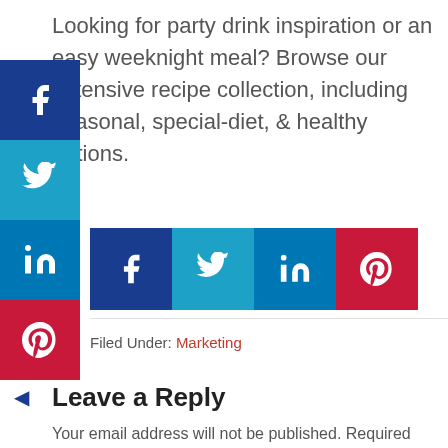Looking for party drink inspiration or an easy weeknight meal? Browse our extensive recipe collection, including seasonal, special-diet, & healthy options.
[Figure (infographic): Social media share buttons sidebar (Facebook, Twitter, LinkedIn, Pinterest) overlapping with inline share buttons row (Twitter, LinkedIn, Pinterest)]
Filed Under: Marketing
Leave a Reply
Your email address will not be published. Required fields are marked *
Comment *